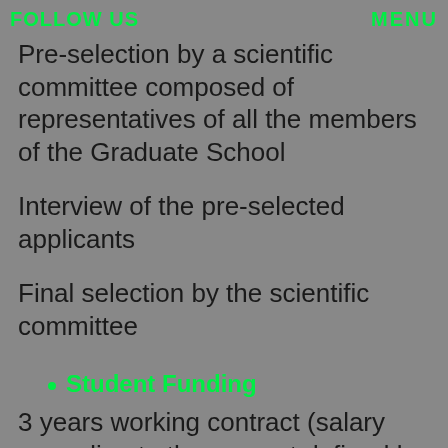FOLLOW US   MENU
Pre-selection by a scientific committee composed of representatives of all the members of the Graduate School
Interview of the pre-selected applicants
Final selection by the scientific committee
Student Funding
3 years working contract (salary according to the amount defined by the French Ministry of Higher Education)
5 contracts per year for the whole Graduate School (possibility to be PhD